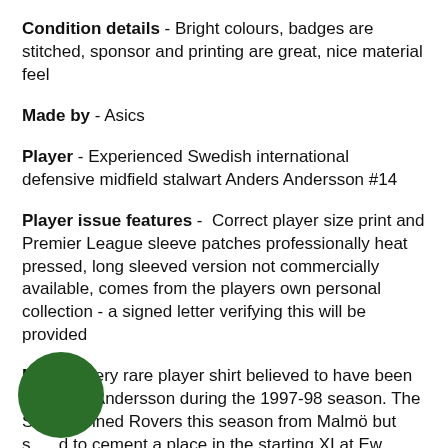Condition details - Bright colours, badges are stitched, sponsor and printing are great, nice material feel
Made by - Asics
Player - Experienced Swedish international defensive midfield stalwart Anders Andersson #14
Player issue features - Correct player size print and Premier League sleeve patches professionally heat pressed, long sleeved version not commercially available, comes from the players own personal collection - a signed letter verifying this will be provided
Notes - Very rare player shirt believed to have been issued to Andersson during the 1997-98 season. The Sw joined Rovers this season from Malmö but struggled to cement a place in the starting XI at Ewood. He made 8 appearances in all competitions as Roy Hodgson took the side to a 6th placed